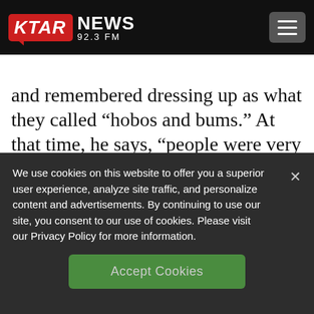KTAR NEWS 92.3 FM
and remembered dressing up as what they called “hobos and bums.” At that time, he says, “people were very concerned that the whole social fabric was coming apart. The idea of the rise of the unwashed masses kind of has a parallel with our fascination
We use cookies on this website to offer you a superior user experience, analyze site traffic, and personalize content and advertisements. By continuing to use our site, you consent to our use of cookies. Please visit our Privacy Policy for more information.
Accept Cookies